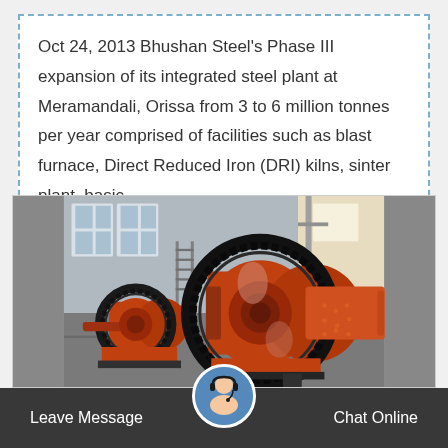Oct 24, 2013 Bhushan Steel's Phase III expansion of its integrated steel plant at Meramandali, Orissa from 3 to 6 million tonnes per year comprised of facilities such as blast furnace, Direct Reduced Iron (DRI) kilns, sinter plant, basic…
[Figure (photo): Industrial ball mill machinery with large gear rings, orange/red colored rotating drums in an industrial factory setting]
Leave Message
Chat Online